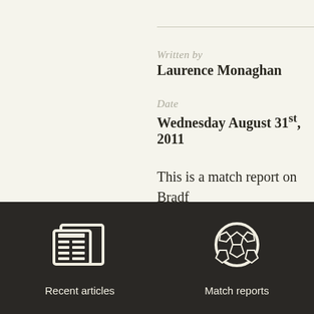Written by
Laurence Monaghan
Date
Wednesday August 31st, 2011
This is a match report on Bradf (City win 3-1 on penalties) at W Trophy, 2011/2012
[Figure (illustration): Newspaper/article icon - white outline of a newspaper with columns]
Recent articles
[Figure (illustration): Soccer ball icon - white circle with black pentagon pattern]
Match reports